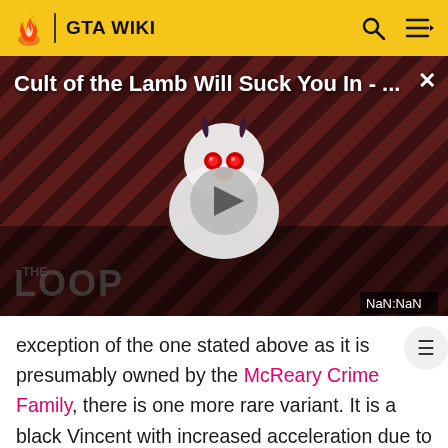GTA WIKI
[Figure (screenshot): Video thumbnail for 'Cult of the Lamb Will Suck You In - ...' with play button, The Loop watermark, and NaN:NaN timestamp on a dark red striped background with a cartoon lamb character]
exception of the one stated above as it is presumably owned by the McReary Crime Family, there is one more rare variant. It is a black Vincent with increased acceleration due to the addition of a turbocharger (evidenced by the hiss similar to that of the Sultan RS